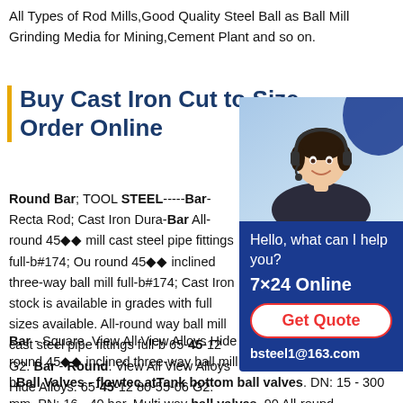All Types of Rod Mills,Good Quality Steel Ball as Ball Mill Grinding Media for Mining,Cement Plant and so on.
Buy Cast Iron Cut to Size Order Online
Round Bar; TOOL STEEL-----Bar-Recta Rod; Cast Iron Dura-Bar All-round 45◊◊ mill cast steel pipe fittings full-b#174; Ou round 45◊◊ inclined three-way ball mill full-b#174; Cast Iron stock is available in grades with full sizes available. All-round way ball mill cast steel pipe fittings full-b 65-45-12 G2. Bar - Round. View All View Alloys Hide Alloys. 65-45-12 80-55-06 G2. Bar - Square. View All View Alloys Hide Alloys. 65-45-12 G2 All-round 45◊◊ inclined three-way ball mill cast steel pipe fittings full-bBall Valves - flowtec.atTank bottom ball valves. DN: 15 - 300 mm. PN: 16 - 40 bar. Multi way ball valves. 90 All-round
[Figure (photo): Customer service representative wearing a headset, smiling. Blue background. Sidebar with: Hello, what can I help you? 7x24 Online, Get Quote button, bsteel1@163.com]